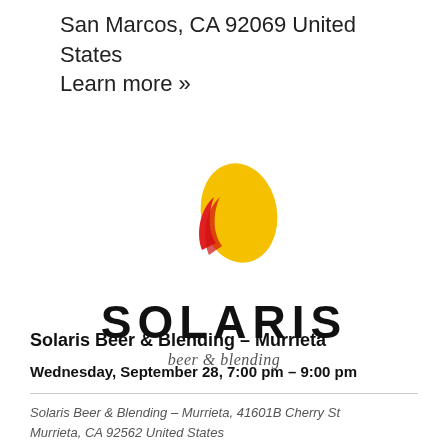San Marcos, CA 92069 United States
Learn more »
[Figure (logo): Solaris Beer & Blending logo: a yellow teardrop/egg shape with a red curved swoosh element to the left, above the word SOLARIS in large bold caps, and 'beer & blending' in italic serif below]
Solaris Beer & Blending – Murrieta
Wednesday, September 28, 7:00 pm – 9:00 pm
Solaris Beer & Blending – Murrieta, 41601B Cherry St Murrieta, CA 92562 United States